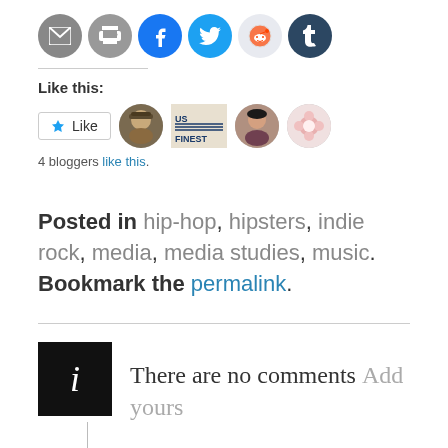[Figure (other): Row of social sharing icon buttons: email, print, Facebook, Twitter, Reddit, Tumblr]
Like this:
[Figure (other): WordPress Like button with star icon labeled Like, followed by three blogger avatar thumbnails and a US Finest badge thumbnail]
4 bloggers like this.
Posted in hip-hop, hipsters, indie rock, media, media studies, music. Bookmark the permalink.
There are no comments  Add yours